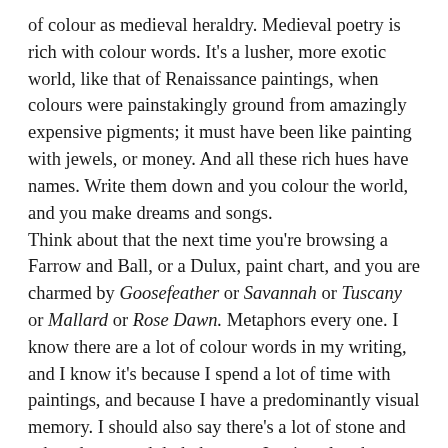of colour as medieval heraldry. Medieval poetry is rich with colour words. It's a lusher, more exotic world, like that of Renaissance paintings, when colours were painstakingly ground from amazingly expensive pigments; it must have been like painting with jewels, or money. And all these rich hues have names. Write them down and you colour the world, and you make dreams and songs. Think about that the next time you're browsing a Farrow and Ball, or a Dulux, paint chart, and you are charmed by Goosefeather or Savannah or Tuscany or Mallard or Rose Dawn. Metaphors every one. I know there are a lot of colour words in my writing, and I know it's because I spend a lot of time with paintings, and because I have a predominantly visual memory. I should also say there's a lot of stone and ash and grey and dark, because I write a lot about mountains and cold places